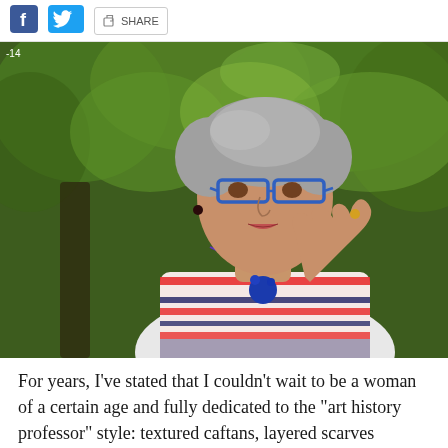SHARE
[Figure (photo): Woman with short grey hair wearing blue rectangular glasses, a striped orange/white/navy top and a large blue bead necklace, gesturing with her right hand. Green trees visible in background, outdoor setting.]
For years, I've stated that I couldn't wait to be a woman of a certain age and fully dedicated to the “art history professor” style: textured caftans, layered scarves obtained on